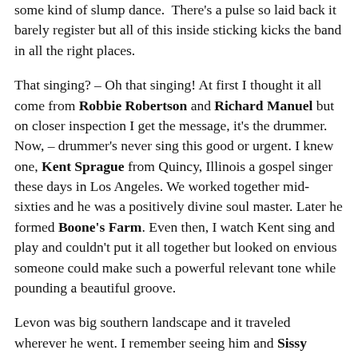some kind of slump dance. There's a pulse so laid back it barely register but all of this inside sticking kicks the band in all the right places.
That singing? – Oh that singing! At first I thought it all come from Robbie Robertson and Richard Manuel but on closer inspection I get the message, it's the drummer. Now, – drummer's never sing this good or urgent. I knew one, Kent Sprague from Quincy, Illinois a gospel singer these days in Los Angeles. We worked together mid-sixties and he was a positively divine soul master. Later he formed Boone's Farm. Even then, I watch Kent sing and play and couldn't put it all together but looked on envious someone could make such a powerful relevant tone while pounding a beautiful groove.
Levon was big southern landscape and it traveled wherever he went. I remember seeing him and Sissy Spacek in Coal Miner's Daughter. I had no idea what his acting chops would be but did he ever nail the part. Levon was ever particle of earth he was delivered from.
When we first arrived in Canada we lived in shared eight room